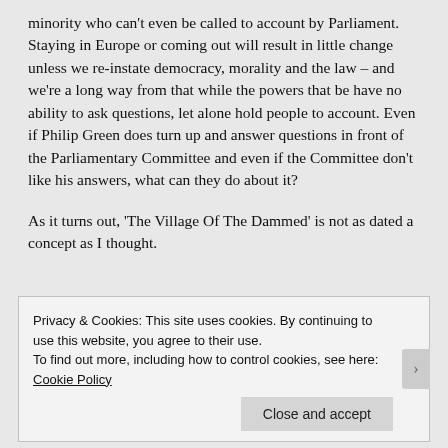minority who can't even be called to account by Parliament. Staying in Europe or coming out will result in little change unless we re-instate democracy, morality and the law – and we're a long way from that while the powers that be have no ability to ask questions, let alone hold people to account. Even if Philip Green does turn up and answer questions in front of the Parliamentary Committee and even if the Committee don't like his answers, what can they do about it?
As it turns out, 'The Village Of The Dammed' is not as dated a concept as I thought.
Privacy & Cookies: This site uses cookies. By continuing to use this website, you agree to their use.
To find out more, including how to control cookies, see here: Cookie Policy
Close and accept